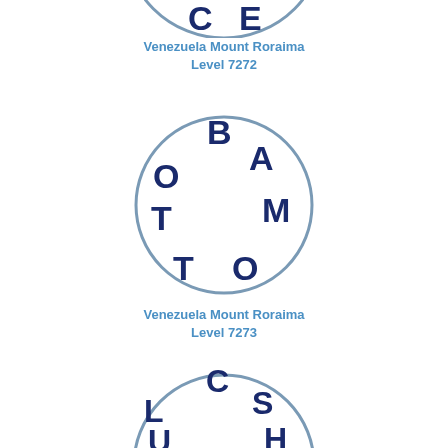[Figure (illustration): Partial circle puzzle with letters C and E visible at top]
Venezuela Mount Roraima
Level 7272
[Figure (illustration): Circle word puzzle with letters B, A, O, M, T, T, O arranged in a circle]
Venezuela Mount Roraima
Level 7273
[Figure (illustration): Circle word puzzle with letters C, S, L, H, U, T, C arranged in a circle (partially visible)]